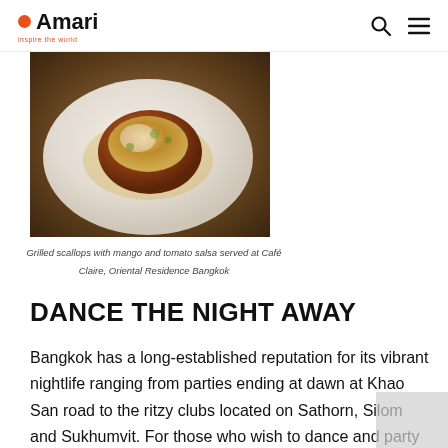Amari — inspire the world (logo with search and menu icons)
[Figure (photo): Close-up photo of grilled scallops with mango and tomato salsa on a white plate, served at Café Claire, Oriental Residence Bangkok]
Grilled scallops with mango and tomato salsa served at Café Claire, Oriental Residence Bangkok
DANCE THE NIGHT AWAY
Bangkok has a long-established reputation for its vibrant nightlife ranging from parties ending at dawn at Khao San road to the ritzy clubs located on Sathorn, Silom and Sukhumvit. For those who wish to dance and party the night away, Sukhumvit Soi 11 is a street